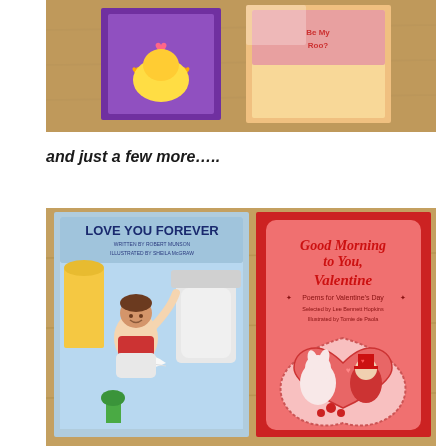[Figure (photo): Photo of children's Valentine's Day books laid on a wooden table surface, partial top view showing colorful covers]
and just a few more…..
[Figure (photo): Photo of two children's books on a wooden table: 'Love You Forever' written by Robert Munson, illustrated by Sheila McGraw (left, blue cover with child and toilet scene), and 'Good Morning to You, Valentine - Poems for Valentine's Day' selected by Lee Bennett Hopkins, illustrated by Tomie de Paola (right, red cover with heart illustration)]